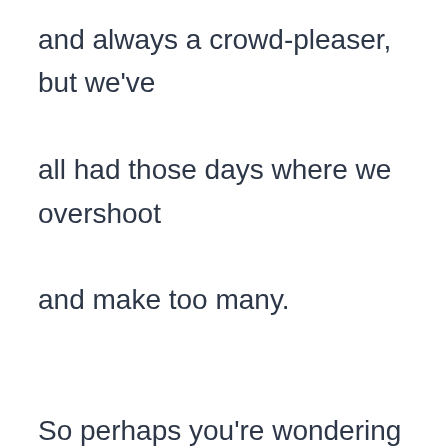and always a crowd-pleaser, but we've all had those days where we overshoot and make too many.

So perhaps you're wondering if you can save leftover hot dogs and reheat them the following day?

You're in luck.